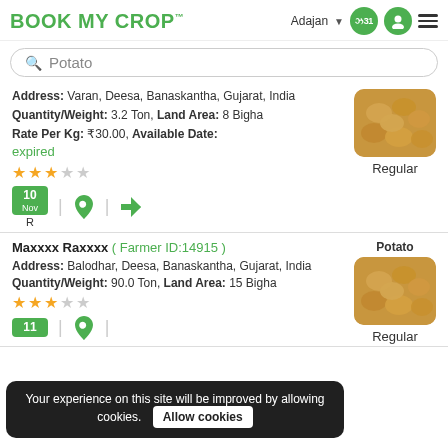BOOK MY CROP
Adajan
Search: Potato
Address: Varan, Deesa, Banaskantha, Gujarat, India
Quantity/Weight: 3.2 Ton, Land Area: 8 Bigha
Rate Per Kg: ₹30.00, Available Date:
expired
[Figure (photo): Photo of potatoes, labeled Regular]
Maxxxx Raxxxx ( Farmer ID:14915 )
Address: Balodhar, Deesa, Banaskantha, Gujarat, India
Quantity/Weight: 90.0 Ton, Land Area: 15 Bigha
[Figure (photo): Photo of potatoes, labeled Potato / Regular]
Your experience on this site will be improved by allowing cookies. Allow cookies